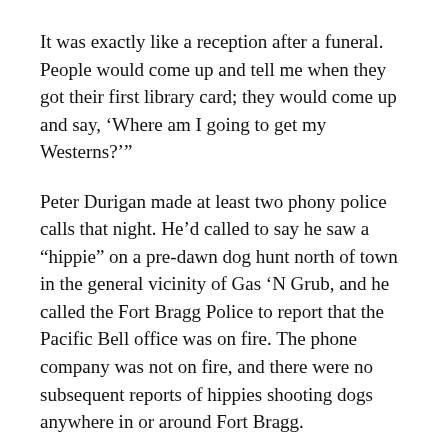It was exactly like a reception after a funeral. People would come up and tell me when they got their first library card; they would come up and say, 'Where am I going to get my Westerns?'
Peter Durigan made at least two phony police calls that night. He'd called to say he saw a "hippie" on a pre-dawn dog hunt north of town in the general vicinity of Gas 'N Grub, and he called the Fort Bragg Police to report that the Pacific Bell office was on fire. The phone company was not on fire, and there were no subsequent reports of hippies shooting dogs anywhere in or around Fort Bragg.
By 8 am, the history of Fort Bragg was gone. The old library with its splendid archives, Ten Mile Justice Court with its records going back almost 150 years, and the splendid Piedmont Hotel, where generations of coast families had enjoyed everything from holiday